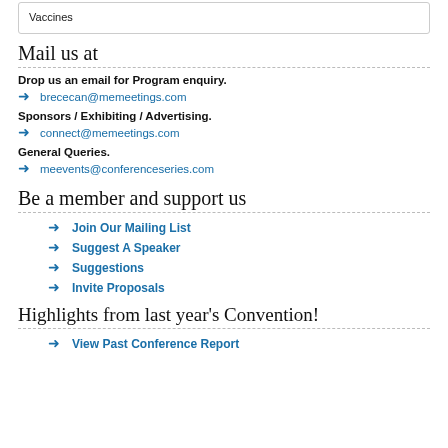Vaccines
Mail us at
Drop us an email for Program enquiry.
brececan@memeetings.com
Sponsors / Exhibiting / Advertising.
connect@memeetings.com
General Queries.
meevents@conferenceseries.com
Be a member and support us
Join Our Mailing List
Suggest A Speaker
Suggestions
Invite Proposals
Highlights from last year's Convention!
View Past Conference Report